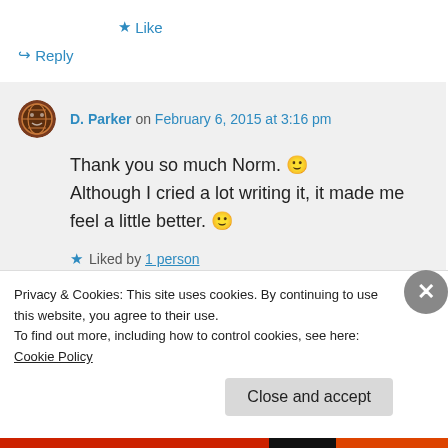★ Like
↪ Reply
D. Parker on February 6, 2015 at 3:16 pm
Thank you so much Norm. 🙂 Although I cried a lot writing it, it made me feel a little better. 🙂
★ Liked by 1 person
Privacy & Cookies: This site uses cookies. By continuing to use this website, you agree to their use.
To find out more, including how to control cookies, see here: Cookie Policy
Close and accept